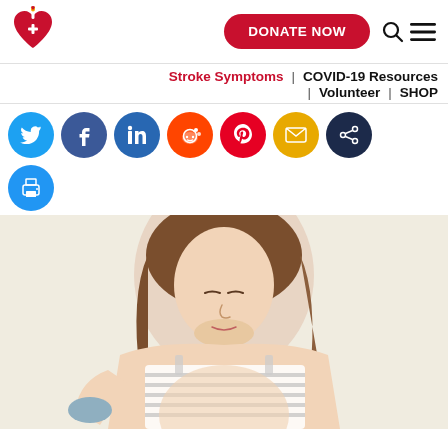American Heart Association header with DONATE NOW button and search/menu icons
Stroke Symptoms | COVID-19 Resources | Volunteer | SHOP
[Figure (illustration): Row of social media sharing buttons: Twitter, Facebook, LinkedIn, Reddit, Pinterest, Email, dark share button, and a print button below]
[Figure (photo): A pregnant woman with long brown hair wearing a striped tank top, looking downward, against a light beige wall]